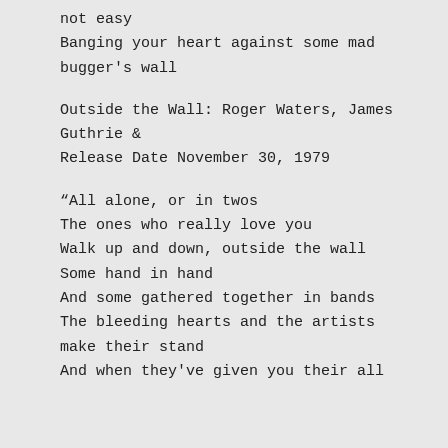not easy
Banging your heart against some mad bugger's wall
Outside the Wall: Roger Waters, James Guthrie &
Release Date November 30, 1979
“All alone, or in twos
The ones who really love you
Walk up and down, outside the wall
Some hand in hand
And some gathered together in bands
The bleeding hearts and the artists make their stand
And when they've given you their all